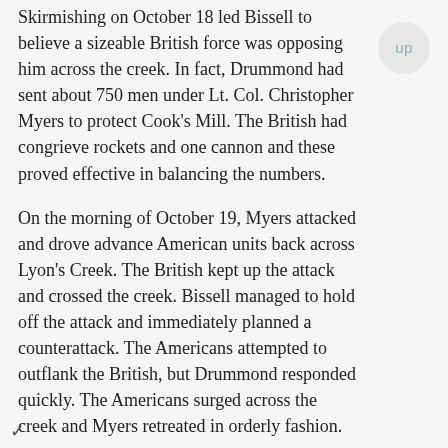Skirmishing on October 18 led Bissell to believe a sizeable British force was opposing him across the creek. In fact, Drummond had sent about 750 men under Lt. Col. Christopher Myers to protect Cook's Mill. The British had congrieve rockets and one cannon and these proved effective in balancing the numbers.
On the morning of October 19, Myers attacked and drove advance American units back across Lyon's Creek. The British kept up the attack and crossed the creek. Bissell managed to hold off the attack and immediately planned a counterattack. The Americans attempted to outflank the British, but Drummond responded quickly. The Americans surged across the creek and Myers retreated in orderly fashion.
The battle showed the effects of Izard's well trained troops. The American forces took Cook's Mill and burned about 200 bushels of wheat and flour intended to feed the British Army. Despite this victory, it became